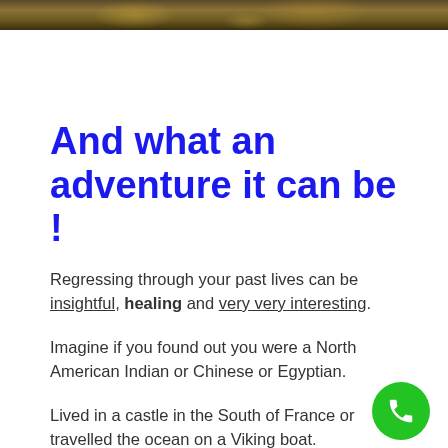[Figure (photo): Partial photo strip at top showing dark golden/brown tones, appears to be an ancient or decorative scene]
And what an adventure it can be !
Regressing through your past lives can be insightful, healing and very very interesting.
Imagine if you found out you were a North American Indian or Chinese or Egyptian.
Lived in a castle in the South of France or travelled the ocean on a Viking boat.